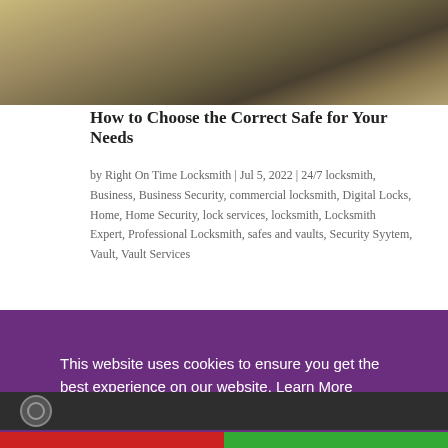[Figure (photo): Close-up photo of a metallic safe or lock mechanism, showing metal surfaces with warm golden-brown tones]
How to Choose the Correct Safe for Your Needs
by Right On Time Locksmith | Jul 5, 2022 | 24/7 locksmith, Business, Business Security, commercial locksmith, Digital Locks, Home, Home Security, lock services, locksmith, Locksmith Expert, Professional Locksmith, safes and vaults, Security Syytem, Vault, Vault Services
This website uses cookies to ensure you get the best experience on our website. Learn More
Got it!